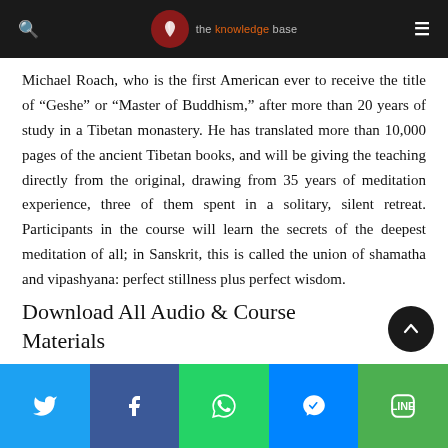the knowledge base
Michael Roach, who is the first American ever to receive the title of “Geshe” or “Master of Buddhism,” after more than 20 years of study in a Tibetan monastery. He has translated more than 10,000 pages of the ancient Tibetan books, and will be giving the teaching directly from the original, drawing from 35 years of meditation experience, three of them spent in a solitary, silent retreat. Participants in the course will learn the secrets of the deepest meditation of all; in Sanskrit, this is called the union of shamatha and vipashyana: perfect stillness plus perfect wisdom.
Download All Audio & Course Materials
Download all audio & course materials (.zip)